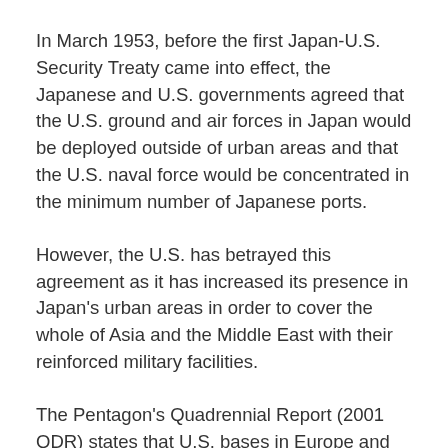In March 1953, before the first Japan-U.S. Security Treaty came into effect, the Japanese and U.S. governments agreed that the U.S. ground and air forces in Japan would be deployed outside of urban areas and that the U.S. naval force would be concentrated in the minimum number of Japanese ports.
However, the U.S. has betrayed this agreement as it has increased its presence in Japan's urban areas in order to cover the whole of Asia and the Middle East with their reinforced military facilities.
The Pentagon's Quadrennial Report (2001 QDR) states that U.S. bases in Europe and Northeast Asia are assigned to play a new role as a hub in contingencies in regions outside of Asia or Europe.